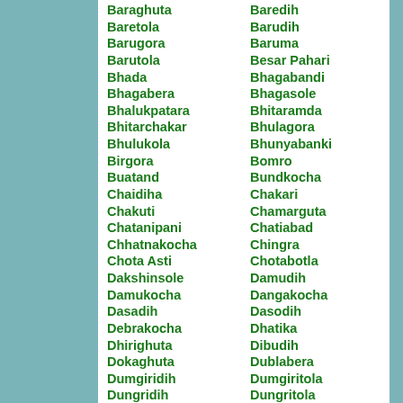Baraghuta
Baretola
Barugora
Barutola
Bhada
Bhagabera
Bhalukpatara
Bhitarchakar
Bhulukola
Birgora
Buatand
Chaidiha
Chakuti
Chatanipani
Chhatnakocha
Chota Asti
Dakshinsole
Damukocha
Dasadih
Debrakocha
Dhirighuta
Dokaghuta
Dumgiridih
Dungridih
Durgagora
Forest Block
Ghagada
Gitilgora
Goraband
Gudlughutu
Harda
Hariaguttu
Baredih
Barudih
Baruma
Besar Pahari
Bhagabandi
Bhagasole
Bhitaramda
Bhulagora
Bhunyabanki
Bomro
Bundkocha
Chakari
Chamarguta
Chatiabad
Chingra
Chotabotla
Damudih
Dangakocha
Dasodih
Dhatika
Dibudih
Dublabera
Dumgiritola
Dungritola
Echadih
Galukocha
Ghutudih
Gogatal
Gudhuguttu
Haludbani
Harebera
Haripur